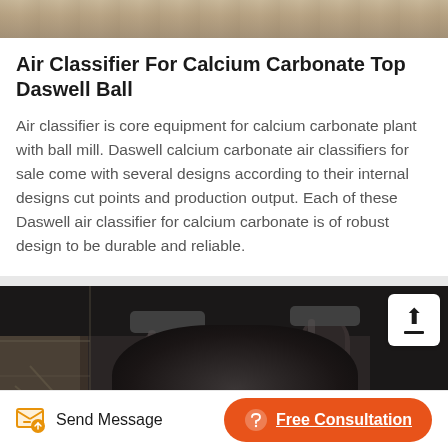[Figure (photo): Top strip showing industrial/construction scene with sandy/earthy tones]
Air Classifier For Calcium Carbonate Top Daswell Ball
Air classifier is core equipment for calcium carbonate plant with ball mill. Daswell calcium carbonate air classifiers for sale come with several designs according to their internal designs cut points and production output. Each of these Daswell air classifier for calcium carbonate is of robust design to be durable and reliable.
[Figure (photo): Industrial facility interior showing large pipes and ductwork in a dark building]
Send Message  Free Consultation